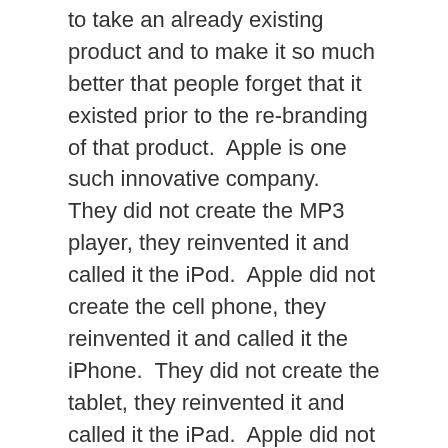to take an already existing product and to make it so much better that people forget that it existed prior to the re-branding of that product. Apple is one such innovative company. They did not create the MP3 player, they reinvented it and called it the iPod. Apple did not create the cell phone, they reinvented it and called it the iPhone. They did not create the tablet, they reinvented it and called it the iPad. Apple did not create the smartwatch, but they did reinvent it, calling it the Apple Watch.
Designed For Employees, Not Customers
When the engineers at Apple design a product, they design it for themselves, not for the customer. Imagine for a moment what it must